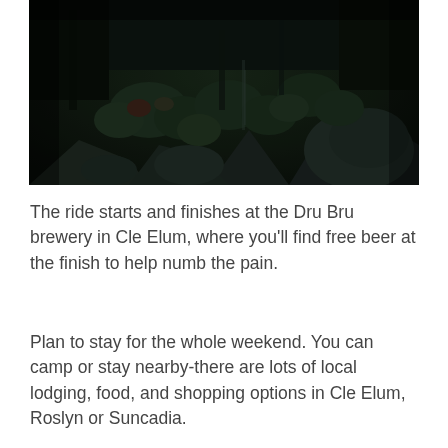[Figure (photo): Dark outdoor photograph showing rocky terrain with green shrubs and coniferous trees in low light conditions]
The ride starts and finishes at the Dru Bru brewery in Cle Elum, where you'll find free beer at the finish to help numb the pain.
Plan to stay for the whole weekend. You can camp or stay nearby-there are lots of local lodging, food, and shopping options in Cle Elum, Roslyn or Suncadia.